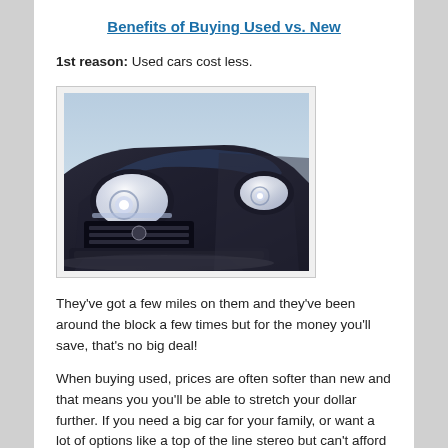Benefits of Buying Used vs. New
1st reason: Used cars cost less.
[Figure (photo): A row of used cars parked in a lot, seen from a low angle showing their front headlights and hoods.]
They've got a few miles on them and they've been around the block a few times but for the money you'll save, that's no big deal!
When buying used, prices are often softer than new and that means you you'll be able to stretch your dollar further. If you need a big car for your family, or want a lot of options like a top of the line stereo but can't afford that option in a new car, you'll likely be able to afford it in the